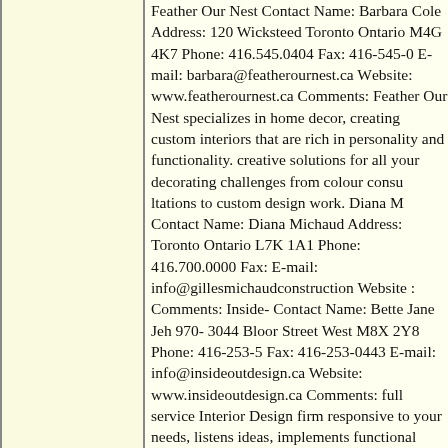Feather Our Nest Contact Name: Barbara Cole Address: 120 Wicksteed Toronto Ontario M4G 4K7 Phone: 416.545.0404 Fax: 416-545-0 E-mail: barbara@featherournest.ca Website: www.featherournest.ca Comments: Feather Our Nest specializes in home decor, creating custom interiors that are rich in personality and functionality. creative solutions for all your decorating challenges from colour consultations to custom design work. Diana M Contact Name: Diana Michaud Address: Toronto Ontario L7K 1A1 Phone: 416.700.0000 Fax: E-mail: info@gillesmichaudconstruction Website : Comments: Inside- Contact Name: Bette Jane Jeh 970- 3044 Bloor Street West M8X 2Y8 Phone: 416-253-5 Fax: 416-253-0443 E-mail: info@insideoutdesign.ca Website: www.insideoutdesign.ca Comments: full service Interior Design fi responsive to your needs, list ideas, implements functional